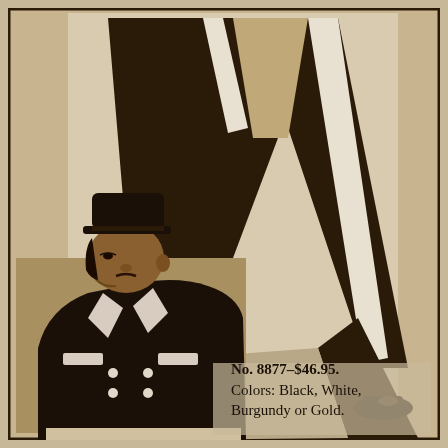[Figure (illustration): Vintage catalog illustration showing a man in a wide-lapel double-breasted coat with white trim, hat, and bell-bottom pants. A fashion illustration shows flared wide-leg pants from the waist down with platform shoes.]
No. 8877–$46.95. Colors: Black, White, Burgundy or Gold.